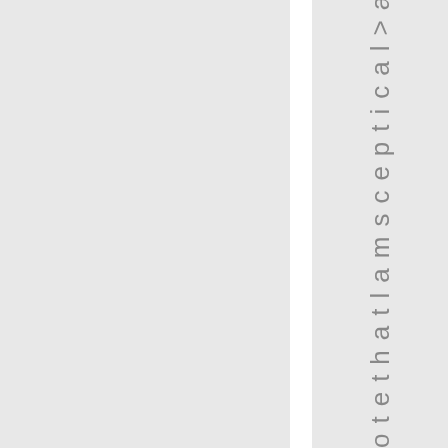o t e t h a t l a m s k e p t i c a l > a b o u t h e